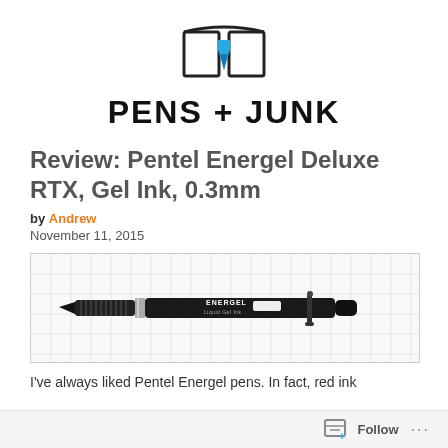[Figure (logo): Pens + Junk logo: open book with fountain pen nib in blue, text PENS + JUNK in bold black capital letters]
Review: Pentel Energel Deluxe RTX, Gel Ink, 0.3mm
by Andrew
November 11, 2015
[Figure (photo): Photo of a black Pentel Energel Deluxe RTX gel pen lying horizontally on graph paper. The pen is fully black with a ribbed grip, silver accent band, and the barrel reads ENERGEL Liquid Gel Ink.]
I've always liked Pentel Energel pens. In fact, red ink
Follow ...